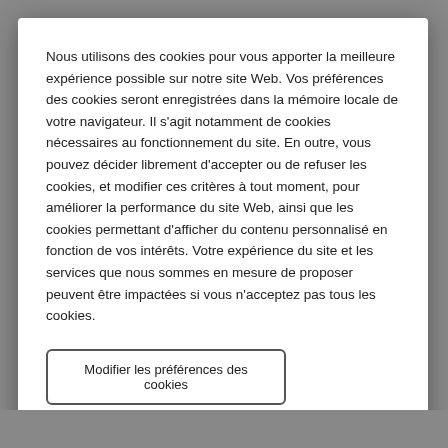Nous utilisons des cookies pour vous apporter la meilleure expérience possible sur notre site Web. Vos préférences des cookies seront enregistrées dans la mémoire locale de votre navigateur. Il s'agit notamment de cookies nécessaires au fonctionnement du site. En outre, vous pouvez décider librement d'accepter ou de refuser les cookies, et modifier ces critères à tout moment, pour améliorer la performance du site Web, ainsi que les cookies permettant d'afficher du contenu personnalisé en fonction de vos intérêts. Votre expérience du site et les services que nous sommes en mesure de proposer peuvent être impactées si vous n'acceptez pas tous les cookies.
Modifier les préférences des cookies
Accepter tous les cookies